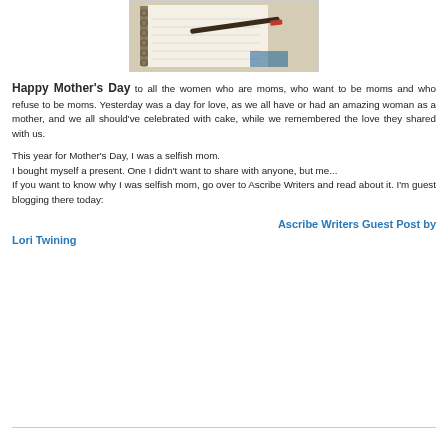[Figure (photo): Photo of a spiral notebook with a pen resting on it, shot from above with a warm sepia tone]
Happy Mother's Day to all the women who are moms, who want to be moms and who refuse to be moms. Yesterday was a day for love, as we all have or had an amazing woman as a mother, and we all should've celebrated with cake, while we remembered the love they shared with us.

This year for Mother's Day, I was a selfish mom.
I bought myself a present. One I didn't want to share with anyone, but me...
If you want to know why I was selfish mom, go over to Ascribe Writers and read about it. I'm guest blogging there today:
Ascribe Writers Guest Post by Lori Twining